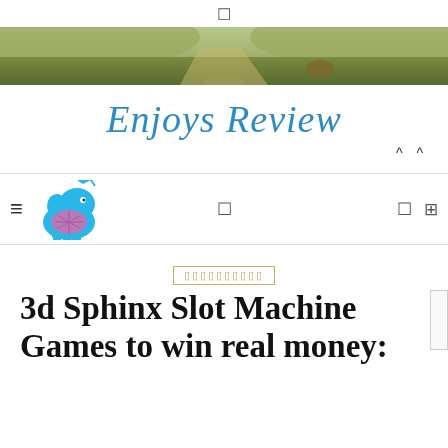☰
[Figure (photo): Outdoor nature banner image showing a path or body of water with greenish-brown hues]
Enjoys Review
^ ^
[Figure (logo): Blue elephant logo with pink patterned blanket and party hat, serving as site logo for Enjoys Review]
3d Sphinx Slot Machine Games to win real money: